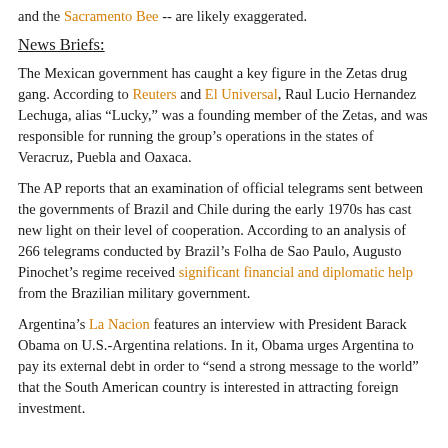and the Sacramento Bee -- are likely exaggerated.
News Briefs:
The Mexican government has caught a key figure in the Zetas drug gang. According to Reuters and El Universal, Raul Lucio Hernandez Lechuga, alias “Lucky,” was a founding member of the Zetas, and was responsible for running the group’s operations in the states of Veracruz, Puebla and Oaxaca.
The AP reports that an examination of official telegrams sent between the governments of Brazil and Chile during the early 1970s has cast new light on their level of cooperation. According to an analysis of 266 telegrams conducted by Brazil’s Folha de Sao Paulo, Augusto Pinochet’s regime received significant financial and diplomatic help from the Brazilian military government.
Argentina’s La Nacion features an interview with President Barack Obama on U.S.-Argentina relations. In it, Obama urges Argentina to pay its external debt in order to “send a strong message to the world” that the South American country is interested in attracting foreign investment.